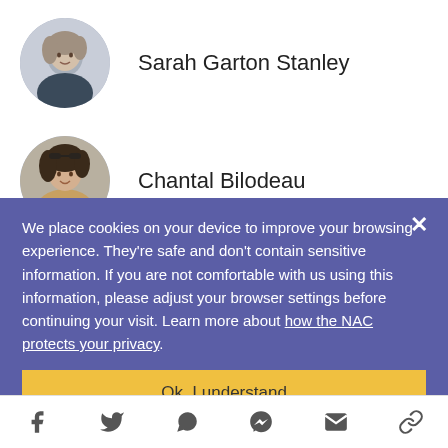[Figure (photo): Circular avatar photo of Sarah Garton Stanley]
Sarah Garton Stanley
[Figure (photo): Circular avatar photo of Chantal Bilodeau]
Chantal Bilodeau
We place cookies on your device to improve your browsing experience. They're safe and don't contain sensitive information. If you are not comfortable with us using this information, please adjust your browser settings before continuing your visit. Learn more about how the NAC protects your privacy.
Ok. I understand
[Figure (infographic): Social sharing icons: Facebook, Twitter, WhatsApp, Messenger, Email, Link]